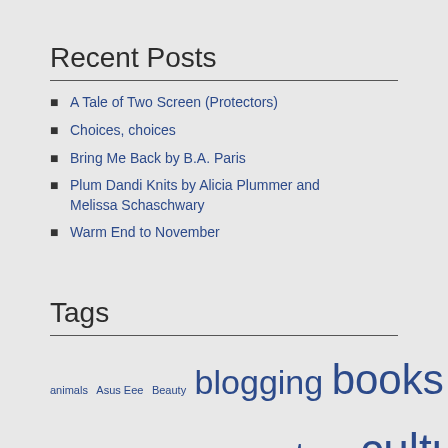Recent Posts
A Tale of Two Screen (Protectors)
Choices, choices
Bring Me Back by B.A. Paris
Plum Dandi Knits by Alicia Plummer and Melissa Schaschwary
Warm End to November
Tags
animals Asus Eee Beauty blogging books career choir cold computers culture driving economy Education ethics